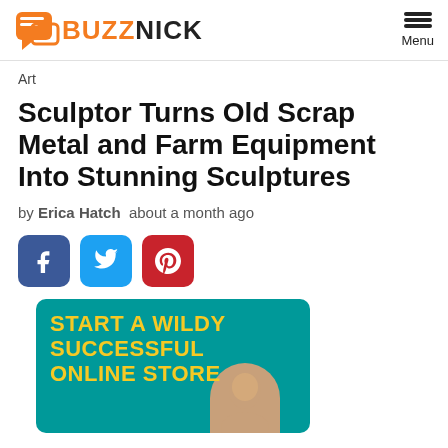BUZZNICK — Menu
Art
Sculptor Turns Old Scrap Metal and Farm Equipment Into Stunning Sculptures
by Erica Hatch  about a month ago
[Figure (other): Social share buttons: Facebook, Twitter, Pinterest]
[Figure (other): Advertisement banner: START A WILDY SUCCESSFUL ONLINE STORE with a person's image at the bottom]